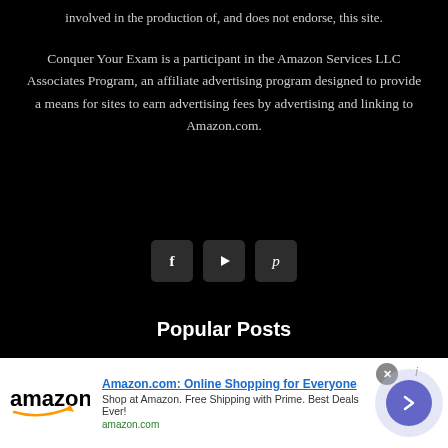involved in the production of, and does not endorse, this site.
Conquer Your Exam is a participant in the Amazon Services LLC Associates Program, an affiliate advertising program designed to provide a means for sites to earn advertising fees by advertising and linking to Amazon.com.
[Figure (other): Three social media icon buttons: Facebook (f), YouTube (play button), Pinterest (p)]
Popular Posts
Our Ultimate Guide to Scholarships
125 ACT Tips and Test Taking Strategies
[Figure (other): Amazon advertisement banner: Amazon.com: Online Shopping for Everyone. Shop at Amazon. Free Shipping with Prime. Best Deals Ever! amazon.com]